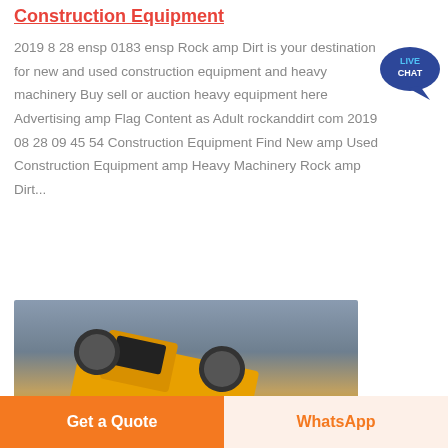Construction Equipment
2019 8 28 ensp 0183 ensp Rock amp Dirt is your destination for new and used construction equipment and heavy machinery Buy sell or auction heavy equipment here Advertising amp Flag Content as Adult rockanddirt com 2019 08 28 09 45 54 Construction Equipment Find New amp Used Construction Equipment amp Heavy Machinery Rock amp Dirt...
[Figure (photo): Photo of a yellow construction vehicle (front loader or bulldozer) photographed from below against a grey/blue sky, showing the cab, windows, and wheels.]
Get a Quote
WhatsApp